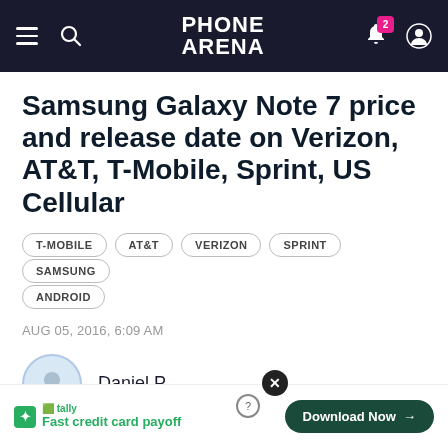PHONE ARENA
Samsung Galaxy Note 7 price and release date on Verizon, AT&T, T-Mobile, Sprint, US Cellular
T-MOBILE
AT&T
VERIZON
SPRINT
SAMSUNG
ANDROID
AUG 05, 2016, 6:09 AM
Daniel P.
Fast credit card payoff